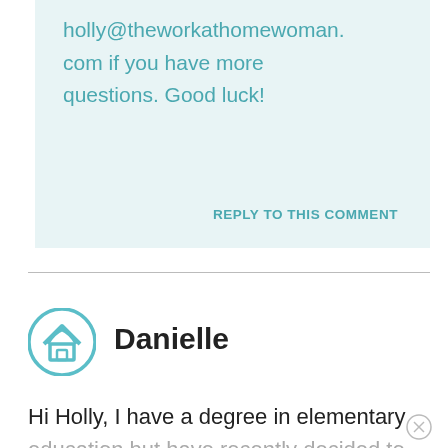holly@theworkathomewoman.com if you have more questions. Good luck!
REPLY TO THIS COMMENT
Danielle
Hi Holly, I have a degree in elementary education but have recently decided to stay home with my children because the salary I